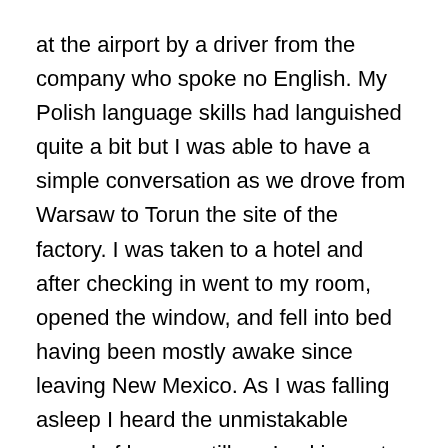at the airport by a driver from the company who spoke no English. My Polish language skills had languished quite a bit but I was able to have a simple conversation as we drove from Warsaw to Torun the site of the factory. I was taken to a hotel and after checking in went to my room, opened the window, and fell into bed having been mostly awake since leaving New Mexico. As I was falling asleep I heard the unmistakable sound of heavy artillery. Looking out the window and to the West, I could see that each “boom” was accompanied by a flash. I eventually fell asleep.
Room service woke me in time for breakfast (sniadanie) in the hotel’s dining room where I was met by a great gentleman, a professor at The University of Torun and a former fellow at the Brookings Institute. After breakfast, we